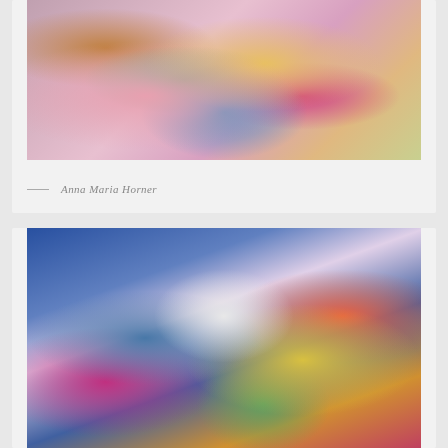[Figure (photo): Colorful quilted fabric bags and pouches with floral and geometric patchwork patterns displayed on a table, with an Anchor brand product visible in the background.]
— Anna Maria Horner
[Figure (photo): A woman with dark braided hair wearing a floral print dress stands in front of a colorful geometric patchwork quilt backdrop, holding up a quilted tote bag with vibrant fabric patterns.]